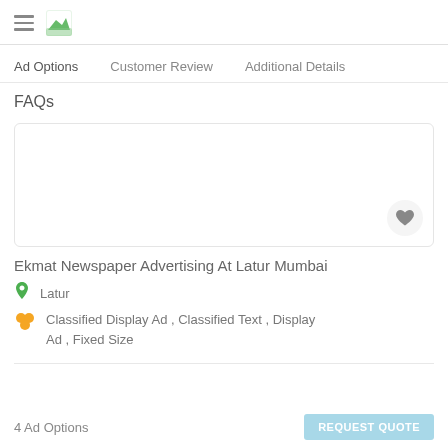Ad Options   Customer Review   Additional Details
FAQs
[Figure (other): Card box with heart/favorite button in bottom right corner]
Ekmat Newspaper Advertising At Latur Mumbai
Latur
Classified Display Ad , Classified Text , Display Ad , Fixed Size
4 Ad Options   REQUEST QUOTE